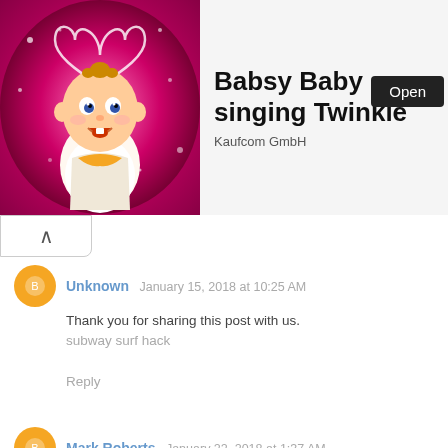[Figure (illustration): Advertisement banner: animated baby cartoon character with pink background, title 'Babsy Baby singing Twinkle', company 'Kaufcom GmbH', with an 'Open' button]
Babsy Baby singing Twinkle
Kaufcom GmbH
Unknown  January 15, 2018 at 10:25 AM
Thank you for sharing this post with us.
subway surf hack
Reply
Mark Roberts  January 22, 2018 at 1:37 AM
But for those who wanted a different story, in which case this game had none, then you were really out of luck. Dungeon Hack had no story, no cohesive structure and no real interest to a die hard game player.Call of Mini Infinity Hack Android
Reply